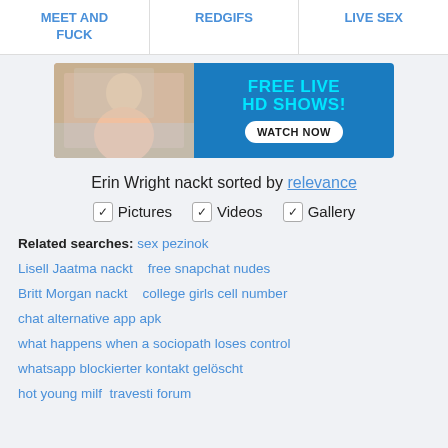MEET AND FUCK | REDGIFS | LIVE SEX
[Figure (photo): Advertisement banner with woman photo on left and 'FREE LIVE HD SHOWS! WATCH NOW' text on blue background on right]
Erin Wright nackt sorted by relevance
✓ Pictures  ✓ Videos  ✓ Gallery
Related searches: sex pezinok Lisell Jaatma nackt free snapchat nudes Britt Morgan nackt college girls cell number chat alternative app apk what happens when a sociopath loses control whatsapp blockierter kontakt gelöscht hot young milf travesti forum